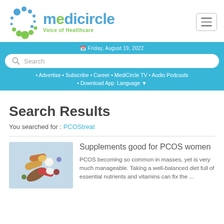[Figure (logo): Medicircle logo with blue and green circular icon and text 'medicircle Voice of Healthcare']
Friday, August 19, 2022
Search
• Advertise • Subscribe • Career • MediCircle TV • Audio Podcasts
• Download App  Language ▼
Search Results
You searched for : PCOStreat
Supplements good for PCOS women
[Figure (photo): Photo of colorful supplement pills and capsules scattered on a light blue background]
PCOS becoming so common in masses, yet is very much manageable. Taking a well-balanced diet full of essential nutrients and vitamins can fix the ...